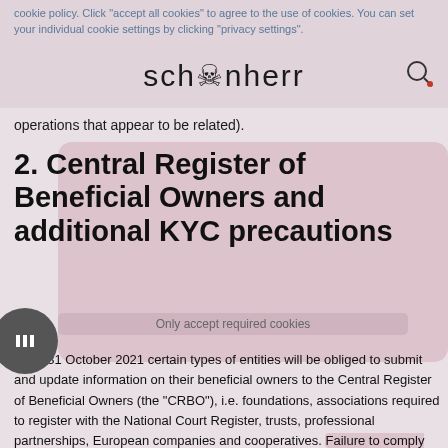cookie policy. Click "accept all cookies" to agree to the use of cookies. You can set your individual cookie settings by clicking "privacy settings".
[Figure (logo): Schoenherr law firm logo with stylized peace symbol in the letter o]
operations that appear to be related).
2. Central Register of Beneficial Owners and additional KYC precautions
As of 31 October 2021 certain types of entities will be obliged to submit and update information on their beneficial owners to the Central Register of Beneficial Owners (the "CRBO"), i.e. foundations, associations required to register with the National Court Register, trusts, professional partnerships, European companies and cooperatives. Failure to comply with this obligation may lead to an administrative fine of up to PLN 1m (approx. EUR 220,000).